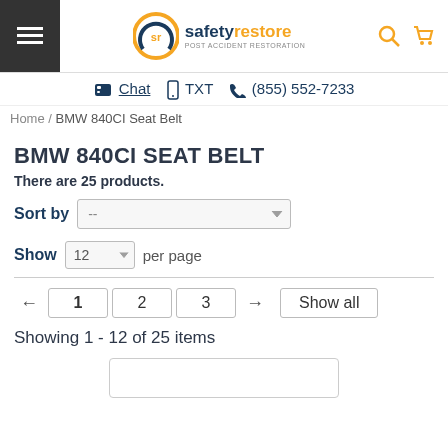[Figure (logo): Safety Restore logo with orange SR icon and company name]
Chat  TXT  (855) 552-7233
Home / BMW 840CI Seat Belt
BMW 840CI SEAT BELT
There are 25 products.
Sort by --
Show 12 per page
1 2 3  Show all
Showing 1 - 12 of 25 items